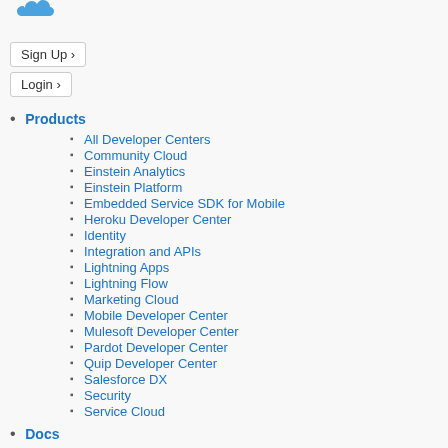[Figure (logo): Salesforce cloud logo in blue]
Sign Up ›
Login ›
Products
All Developer Centers
Community Cloud
Einstein Analytics
Einstein Platform
Embedded Service SDK for Mobile
Heroku Developer Center
Identity
Integration and APIs
Lightning Apps
Lightning Flow
Marketing Cloud
Mobile Developer Center
Mulesoft Developer Center
Pardot Developer Center
Quip Developer Center
Salesforce DX
Security
Service Cloud
Docs
Lightning Component Library
Lightning Design System